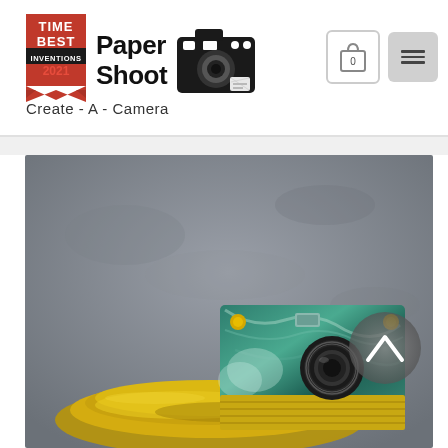[Figure (logo): TIME Best Inventions 2021 badge with red ribbon/banner design]
[Figure (logo): Paper Shoot brand logo with camera icon — text reads 'Paper Shoot' with stylized camera graphic]
Create - A - Camera
[Figure (photo): Product photo of a teal/green marble-patterned Paper Shoot camera resting on a gold/brass decorative dish, against a gray concrete background. A circular gray scroll-up arrow button overlays the right side of the image.]